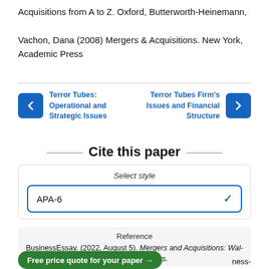Acquisitions from A to Z. Oxford, Butterworth-Heinemann,

Vachon, Dana (2008) Mergers & Acquisitions. New York, Academic Press
Terror Tubes: Operational and Strategic Issues
Terror Tubes Firm's Issues and Financial Structure
Cite this paper
Select style
APA-6
Reference
BusinessEssay. (2022, August 5). Mergers and Acquisitions: Wal-Mart and Morrisons. ...ness-
Free price quote for your paper →